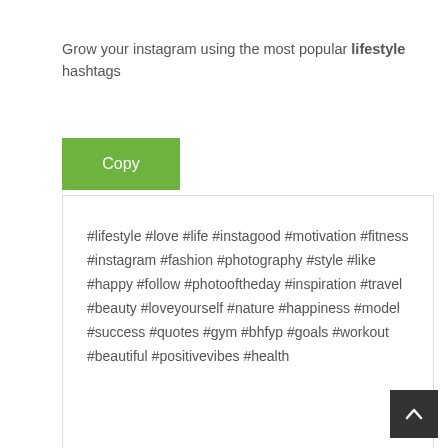Grow your instagram using the most popular lifestyle hashtags
[Figure (other): Green 'Copy' button]
#lifestyle #love #life #instagood #motivation #fitness #instagram #fashion #photography #style #like #happy #follow #photooftheday #inspiration #travel #beauty #loveyourself #nature #happiness #model #success #quotes #gym #bhfyp #goals #workout #beautiful #positivevibes #health
Second most liked instagram hashtags used with lifestyle
[Figure (other): Green 'Copy' button]
#art #mindset #instadaily #epicoftheday #selflove #fit #believe #photo #yourself #fitnessmotivation #smile